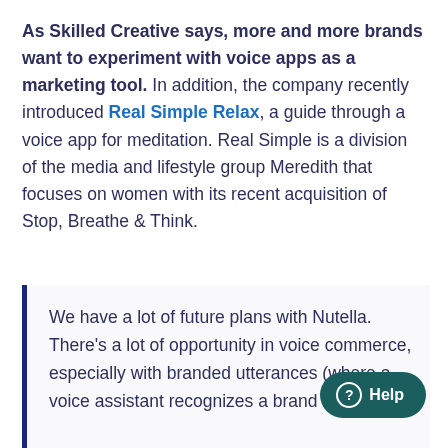As Skilled Creative says, more and more brands want to experiment with voice apps as a marketing tool. In addition, the company recently introduced Real Simple Relax, a guide through a voice app for meditation. Real Simple is a division of the media and lifestyle group Meredith that focuses on women with its recent acquisition of Stop, Breathe & Think.
We have a lot of future plans with Nutella. There's a lot of opportunity in voice commerce, especially with branded utterances (where a voice assistant recognizes a brand name for